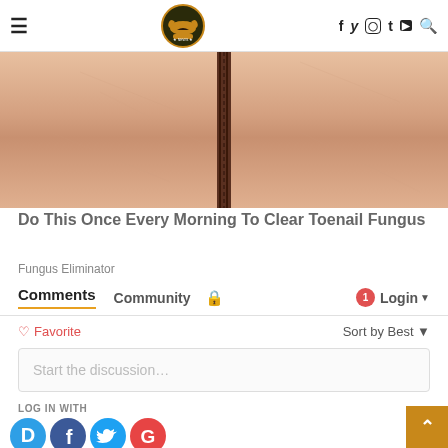Dark Knight News — navigation bar with hamburger menu, logo, social icons (f, twitter, instagram, t, youtube, search)
[Figure (photo): Close-up skin photo with a vertical dark stripe/line in the center, used as advertisement image for toenail fungus product]
Do This Once Every Morning To Clear Toenail Fungus
Fungus Eliminator
Comments   Community   🔒   1   Login
♡ Favorite   Sort by Best ▾
Start the discussion…
LOG IN WITH